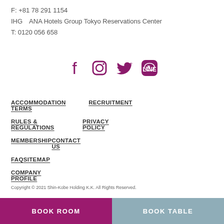F: +81 78 291 1154
IHG　ANA Hotels Group Tokyo Reservations Center
T: 0120 056 658
[Figure (infographic): Social media icons: Facebook, Instagram, Twitter, LINE in purple/maroon color]
ACCOMMODATION TERMS
RECRUITMENT
RULES & REGULATIONS
PRIVACY POLICY
MEMBERSHIP
CONTACT US
FAQ
SITEMAP
COMPANY PROFILE
Copyright © 2021 Shin-Kobe Holding K.K. All Rights Reserved.
BOOK ROOM
BOOK TABLE